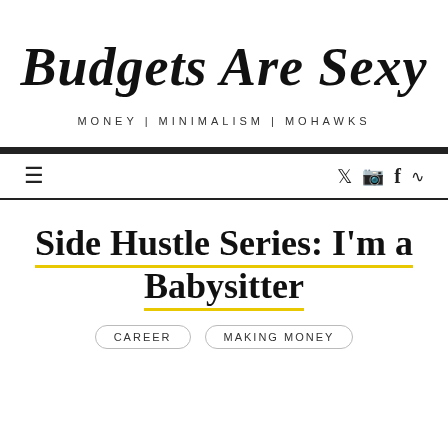Budgets Are Sexy
MONEY | MINIMALISM | MOHAWKS
[Figure (other): Navigation bar with hamburger menu icon on the left and social media icons (Twitter, Instagram, Facebook, RSS) on the right]
Side Hustle Series: I'm a Babysitter
CAREER
MAKING MONEY